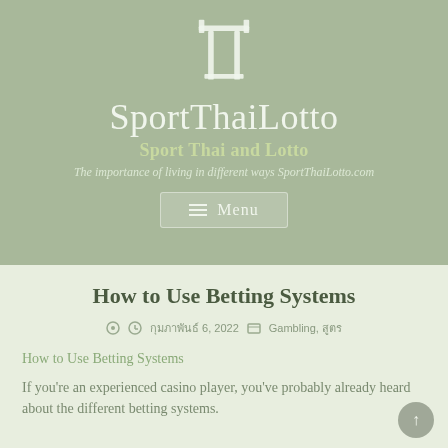[Figure (logo): Thai gate/torii style logo icon in light color on sage green background]
SportThaiLotto
Sport Thai and Lotto
The importance of living in different ways SportThaiLotto.com
Menu
How to Use Betting Systems
กุมภาพันธ์ 6, 2022 | Gambling, สูตร
How to Use Betting Systems
If you're an experienced casino player, you've probably already heard about the different betting systems.